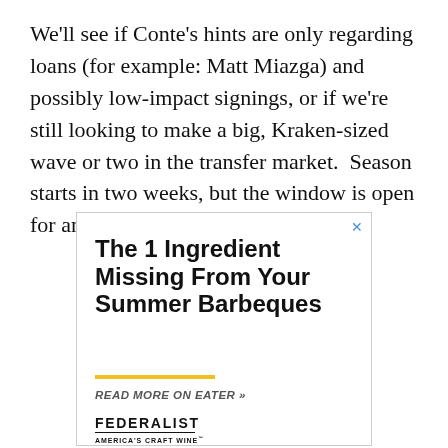We'll see if Conte's hints are only regarding loans (for example: Matt Miazga) and possibly low-impact signings, or if we're still looking to make a big, Kraken-sized wave or two in the transfer market.  Season starts in two weeks, but the window is open for another month.
[Figure (other): Advertisement banner: 'The 1 Ingredient Missing From Your Summer Barbeques' with 'READ MORE ON EATER »' tagline and 'FEDERALIST AMERICA'S CRAFT WINE' branding at bottom, with a yellow horizontal rule divider.]